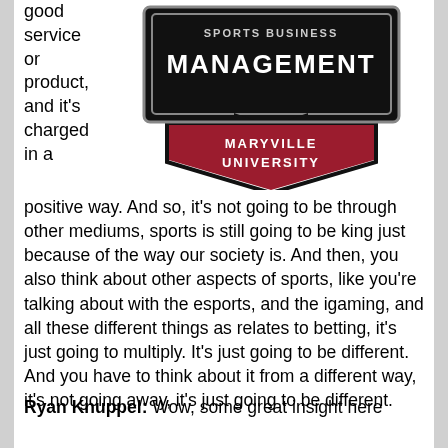good service or product, and it's charged in a
[Figure (logo): Maryville University Sports Business Management logo — black shield shape with 'MANAGEMENT' in white text on black banner, red shield below with 'MARYVILLE UNIVERSITY' in white text]
positive way. And so, it's not going to be through other mediums, sports is still going to be king just because of the way our society is. And then, you also think about other aspects of sports, like you're talking about with the esports, and the igaming, and all these different things as relates to betting, it's just going to multiply. It's just going to be different. And you have to think about it from a different way, it's not going away, it's just going to be different.
Ryan Knuppel: Wow, some great insight here